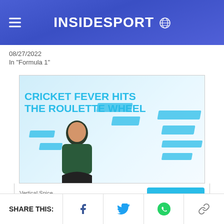INSIDESPORT
08/27/2022
In "Formula 1"
[Figure (advertisement): Cricket Fever Hits The Roulette Wheel - online casino advertisement with woman and teal decorative boxes]
[Figure (advertisement): Vertical Spice - Your Custom Storage Solution - Shop Now advertisement banner]
SHARE THIS: